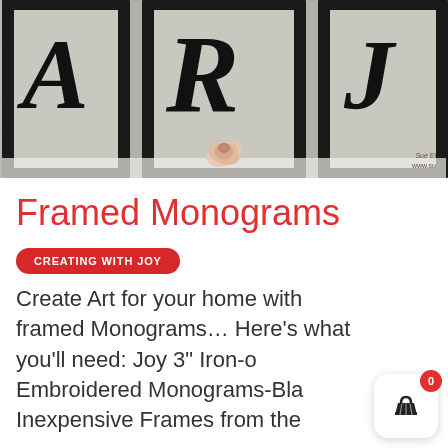[Figure (photo): Three black framed panels on a gray wood background, each containing a large cursive letter: A, R, and J. A pink rose sits in the center between frames. A watermark in the lower right reads 'Sue El www.su']
Framed Monograms
CREATING WITH JOY
Create Art for your home with framed Monograms… Here's what you'll need: Joy 3" Iron-o Embroidered Monograms-Bla Inexpensive Frames from the